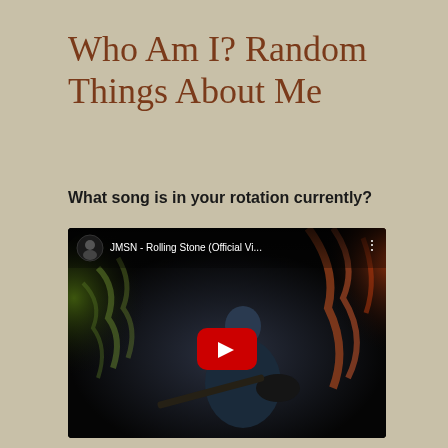Who Am I? Random Things About Me
What song is in your rotation currently?
[Figure (screenshot): Embedded YouTube video player showing JMSN - Rolling Stone (Official Vi...) with a red play button overlay. The thumbnail shows a musician playing guitar on a dark stage with dramatic lighting effects — greenish smoke on the left and orange/red light streaks on the right.]